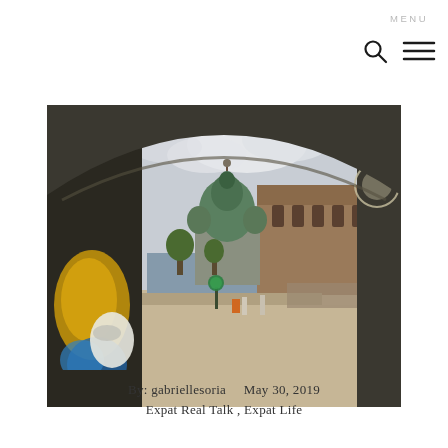MENU
[Figure (photo): View through a graffiti-covered tunnel arch looking out onto a Berlin street and plaza, with the Berliner Dom (cathedral) and a classical museum building visible in the background under a cloudy sky.]
By:  gabriellesoria    May 30, 2019
Expat Real Talk ,  Expat Life